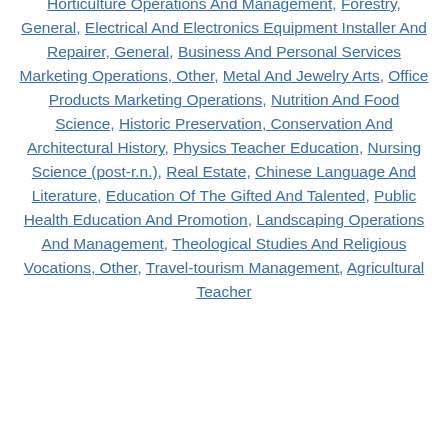Horticulture Operations And Management, Forestry, General, Electrical And Electronics Equipment Installer And Repairer, General, Business And Personal Services Marketing Operations, Other, Metal And Jewelry Arts, Office Products Marketing Operations, Nutrition And Food Science, Historic Preservation, Conservation And Architectural History, Physics Teacher Education, Nursing Science (post-r.n.), Real Estate, Chinese Language And Literature, Education Of The Gifted And Talented, Public Health Education And Promotion, Landscaping Operations And Management, Theological Studies And Religious Vocations, Other, Travel-tourism Management, Agricultural Teacher Education (continuing), Postsecondary And...